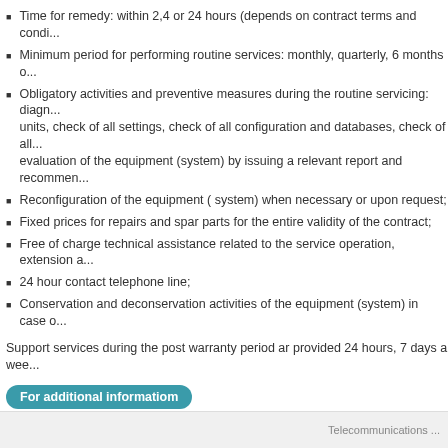Time for remedy: within 2,4 or 24 hours (depends on contract terms and condi...
Minimum period for performing routine services: monthly, quarterly, 6 months o...
Obligatory activities and preventive measures during the routine servicing: diagn... units, check of all settings, check of all configuration and databases, check of all... evaluation of the equipment (system) by issuing a relevant report and recommen...
Reconfiguration of the equipment ( system) when necessary or upon request;
Fixed prices for repairs and spar parts for the entire validity of the contract;
Free of charge technical assistance related to the service operation, extension a...
24 hour contact telephone line;
Conservation and deconservation activities of the equipment (system) in case o...
Support services during the post warranty period ar provided 24 hours, 7 days a wee...
For additional informatiom
tel.: +359 2 8122904
e-mail: service@elta.bg
Telecommunications ...